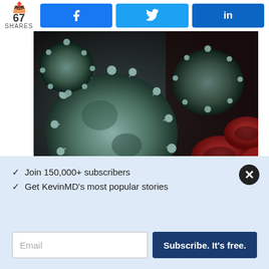67 SHARES | Facebook | Twitter | LinkedIn
[Figure (photo): Microscopic image of COVID-19 coronavirus particles (grey/teal spiky spheres) next to red blood cells on dark background]
COVID vaccination: If not for yourself, then for the rest of us
RANDALL S. FONG, MD
[Figure (photo): Partial green grass/field image strip]
✓ Join 150,000+ subscribers
✓ Get KevinMD's most popular stories
Email  Subscribe. It's free.